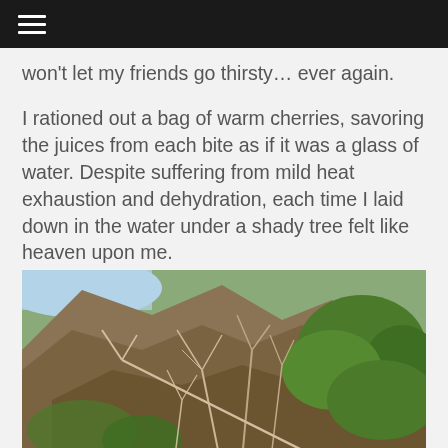won't let my friends go thirsty… ever again.
I rationed out a bag of warm cherries, savoring the juices from each bite as if it was a glass of water. Despite suffering from mild heat exhaustion and dehydration, each time I laid down in the water under a shady tree felt like heaven upon me.
[Figure (photo): Outdoor photograph looking up at a rocky hillside with dry and green vegetation, bare branches, and a blue sky visible in the upper left corner.]